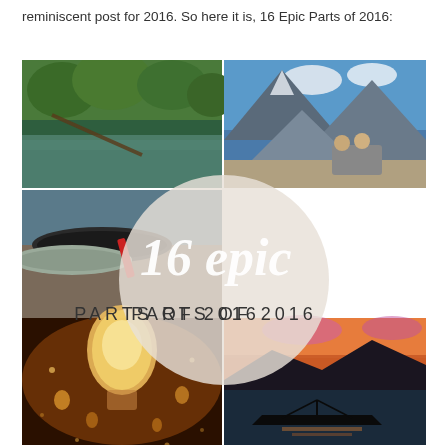reminiscent post for 2016. So here it is, 16 Epic Parts of 2016:
[Figure (photo): A collage of four travel photos arranged in a 2x2 grid with a centered overlay text reading '16 epic PARTS OF 2016'. Top-left: a calm river with green trees reflecting on water. Top-right: two people on a motorcycle with mountains in background. Bottom-left: person releasing sky lanterns at night. Bottom-right: silhouette of a boat at sunset with mountains.]